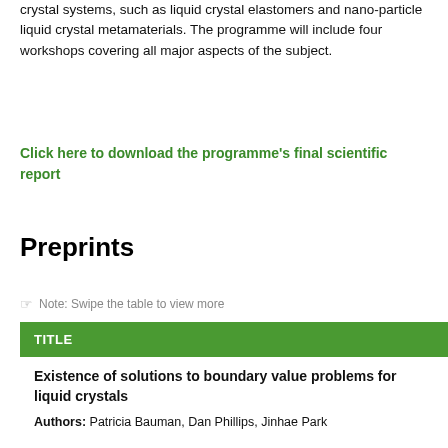crystal systems, such as liquid crystal elastomers and nano-particle liquid crystal metamaterials. The programme will include four workshops covering all major aspects of the subject.
Click here to download the programme's final scientific report
Preprints
Note: Swipe the table to view more
| TITLE |
| --- |
| Existence of solutions to boundary value problems for liquid crystals

Authors: Patricia Bauman, Dan Phillips, Jinhae Park |